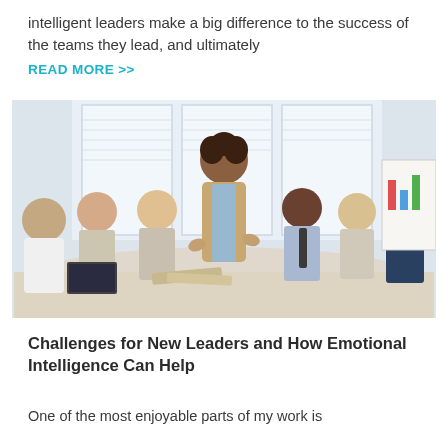intelligent leaders make a big difference to the success of the teams they lead, and ultimately
READ MORE >>
[Figure (photo): A woman with curly hair stands at the head of a conference table presenting to a group of seated business professionals in a bright office setting.]
Challenges for New Leaders and How Emotional Intelligence Can Help
One of the most enjoyable parts of my work is